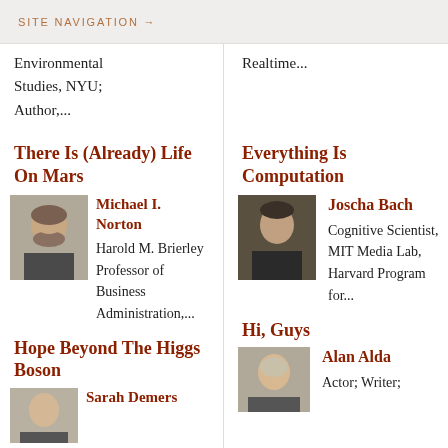SITE NAVIGATION →
Environmental Studies, NYU; Author,...
Realtime...
There Is (Already) Life On Mars
Everything Is Computation
[Figure (photo): Photo of Michael I. Norton]
Michael I. Norton
Harold M. Brierley Professor of Business Administration,...
[Figure (photo): Photo of Joscha Bach]
Joscha Bach
Cognitive Scientist, MIT Media Lab, Harvard Program for...
Hope Beyond The Higgs Boson
Hi, Guys
[Figure (photo): Photo of Sarah Demers]
Sarah Demers
[Figure (photo): Photo of Alan Alda]
Alan Alda
Actor; Writer;